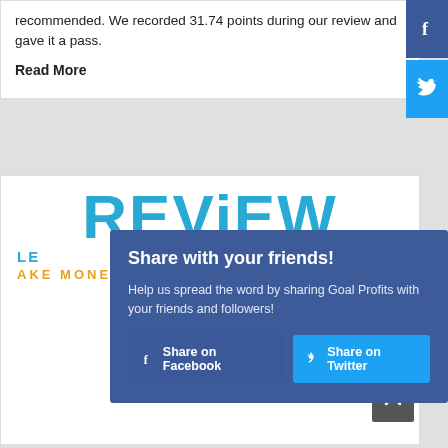recommended. We recorded 31.74 points during our review and gave it a pass.
Read More
[Figure (screenshot): Facebook share icon button (blue sidebar)]
[Figure (screenshot): Twitter share icon button (light blue sidebar)]
[Figure (screenshot): REVIEW banner in large cyan letters]
LB
AKE MONEY RISK-FREE
Share with your friends!
Help us spread the word by sharing Goal Profits with your friends and followers!
Share on Facebook
Share on Twitter